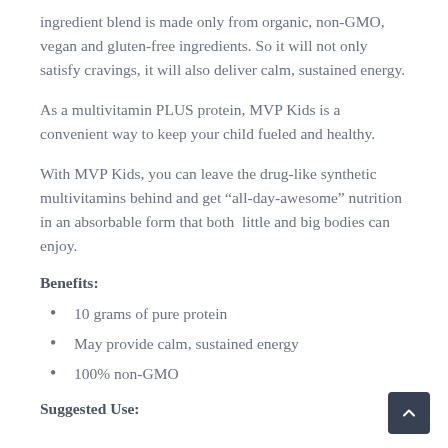ingredient blend is made only from organic, non-GMO, vegan and gluten-free ingredients. So it will not only satisfy cravings, it will also deliver calm, sustained energy.
As a multivitamin PLUS protein, MVP Kids is a convenient way to keep your child fueled and healthy.
With MVP Kids, you can leave the drug-like synthetic multivitamins behind and get “all-day-awesome” nutrition in an absorbable form that both  little and big bodies can enjoy.
Benefits:
10 grams of pure protein
May provide calm, sustained energy
100% non-GMO
Suggested Use: